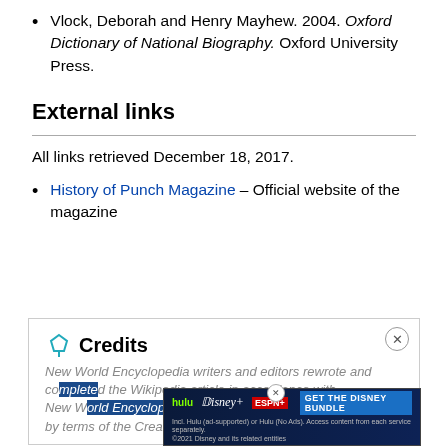Vlock, Deborah and Henry Mayhew. 2004. Oxford Dictionary of National Biography. Oxford University Press.
External links
All links retrieved December 18, 2017.
History of Punch Magazine – Official website of the magazine
Credits
New World Encyclopedia writers and editors rewrote and completed the Wikipedia article in accordance with New World Encyclopedia standards. This article abides by terms of the Creative Commons CC by-sa 3.0